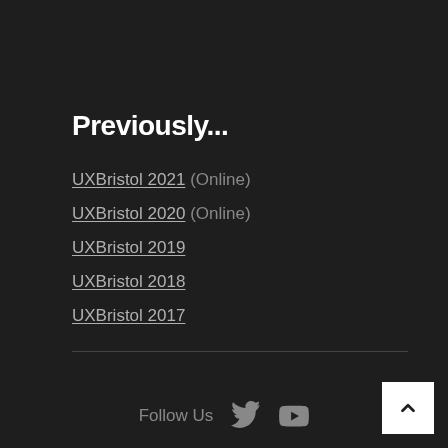Previously...
UXBristol 2021 (Online)
UXBristol 2020 (Online)
UXBristol 2019
UXBristol 2018
UXBristol 2017
Follow Us